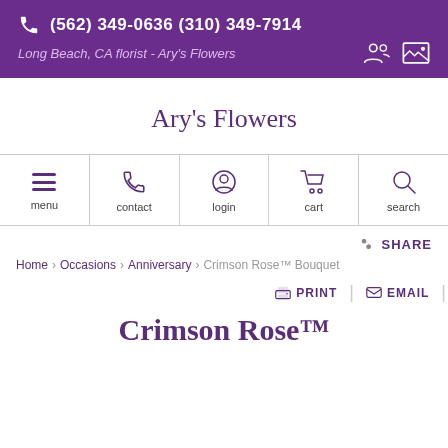(562) 349-0636 (310) 349-7914 Long Beach, CA florist - Ary's Flowers
Ary's Flowers
[Figure (screenshot): Navigation bar with icons: menu, contact, login, cart, search]
SHARE
Home > Occasions > Anniversary > Crimson Rose™ Bouquet
PRINT | EMAIL
Crimson Rose™